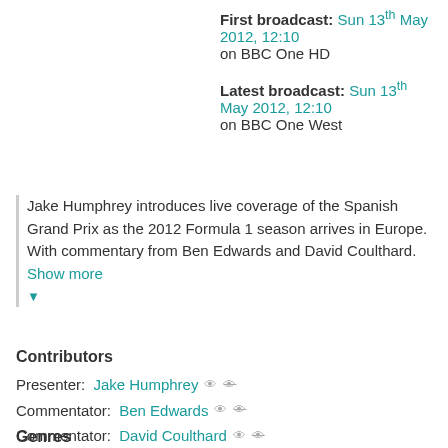First broadcast: Sun 13th May 2012, 12:10 on BBC One HD
Latest broadcast: Sun 13th May 2012, 12:10 on BBC One West
Jake Humphrey introduces live coverage of the Spanish Grand Prix as the 2012 Formula 1 season arrives in Europe. With commentary from Ben Edwards and David Coulthard. Show more
Contributors
Presenter: Jake Humphrey
Commentator: Ben Edwards
Commentator: David Coulthard
Participant: Eddie Jordan
Genres